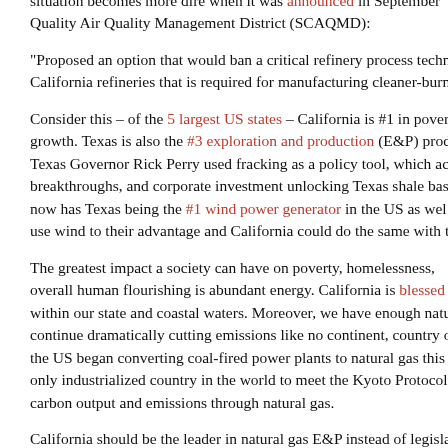situation becomes more dire when it was announced in September Quality Air Quality Management District (SCAQMD):
“Proposed an option that would ban a critical refinery process techn California refineries that is required for manufacturing cleaner-burni
Consider this – of the 5 largest US states – California is #1 in pover growth. Texas is also the #3 exploration and production (E&P) produ Texas Governor Rick Perry used fracking as a policy tool, which ach breakthroughs, and corporate investment unlocking Texas shale bas now has Texas being the #1 wind power generator in the US as wel use wind to their advantage and California could do the same with t
The greatest impact a society can have on poverty, homelessness, overall human flourishing is abundant energy. California is blessed w within our state and coastal waters. Moreover, we have enough natu continue dramatically cutting emissions like no continent, country or the US began converting coal-fired power plants to natural gas this only industrialized country in the world to meet the Kyoto Protocol b carbon output and emissions through natural gas.
California should be the leader in natural gas E&P instead of legisla 100 (SB 100) that our advanced society can only be powered by re solar). Imagine what gas prices will be like when renewable energy modern-day products that originate from crude oil. Moreover, the 2